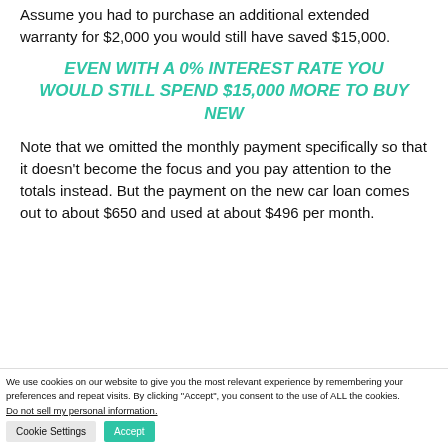Assume you had to purchase an additional extended warranty for $2,000 you would still have saved $15,000.
EVEN WITH A 0% INTEREST RATE YOU WOULD STILL SPEND $15,000 MORE TO BUY NEW
Note that we omitted the monthly payment specifically so that it doesn't become the focus and you pay attention to the totals instead. But the payment on the new car loan comes out to about $650 and used at about $496 per month.
We use cookies on our website to give you the most relevant experience by remembering your preferences and repeat visits. By clicking "Accept", you consent to the use of ALL the cookies.
Do not sell my personal information.